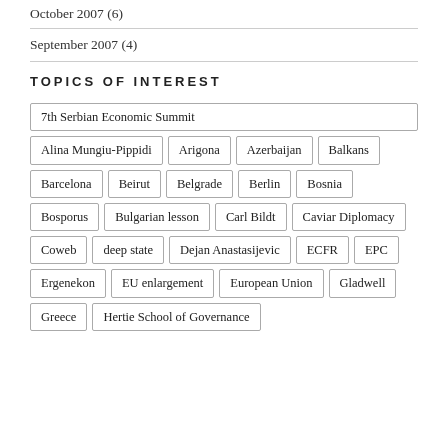October 2007 (6)
September 2007 (4)
TOPICS OF INTEREST
7th Serbian Economic Summit
Alina Mungiu-Pippidi
Arigona
Azerbaijan
Balkans
Barcelona
Beirut
Belgrade
Berlin
Bosnia
Bosporus
Bulgarian lesson
Carl Bildt
Caviar Diplomacy
Coweb
deep state
Dejan Anastasijevic
ECFR
EPC
Ergenekon
EU enlargement
European Union
Gladwell
Greece
Hertie School of Governance